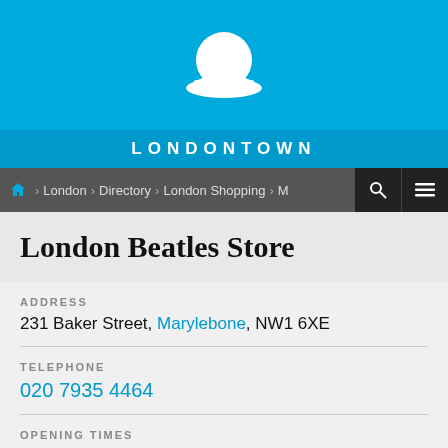[Figure (logo): White bowler hat icon on blue background]
LONDONTOWN
Home › London › Directory › London Shopping › M...
London Beatles Store
ADDRESS
231 Baker Street, Marylebone, NW1 6XE
TELEPHONE
020 7935 4464
OPENING TIMES
Today (Tuesday) London Beatles Store closes at 18.30